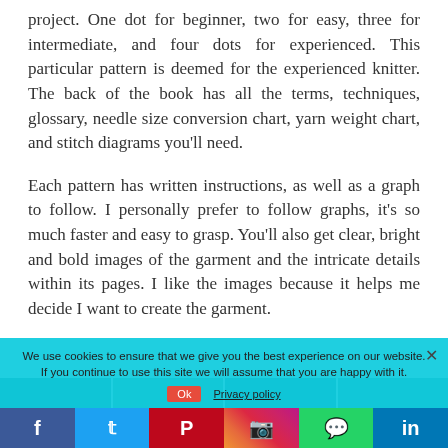project. One dot for beginner, two for easy, three for intermediate, and four dots for experienced. This particular pattern is deemed for the experienced knitter. The back of the book has all the terms, techniques, glossary, needle size conversion chart, yarn weight chart, and stitch diagrams you'll need.
Each pattern has written instructions, as well as a graph to follow. I personally prefer to follow graphs, it's so much faster and easy to grasp. You'll also get clear, bright and bold images of the garment and the intricate details within its pages. I like the images because it helps me decide I want to create the garment.
[Figure (photo): Partial view of garment images showing knitting pattern details, overlaid by cookie consent banner]
We use cookies to ensure that we give you the best experience on our website. If you continue to use this site we will assume that you are happy with it.
Social share bar: Facebook, Twitter, Pinterest, Instagram, WhatsApp, LinkedIn